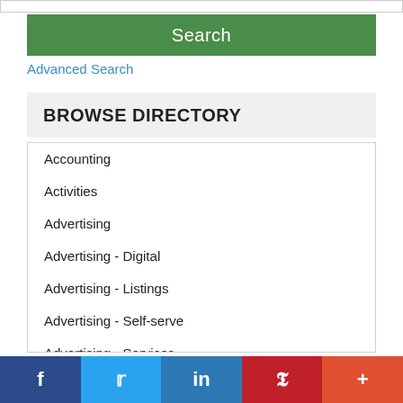Search
Advanced Search
BROWSE DIRECTORY
Accounting
Activities
Advertising
Advertising - Digital
Advertising - Listings
Advertising - Self-serve
Advertising - Services
Advertising Online
Advertising Onl...
f  t  in  P  +